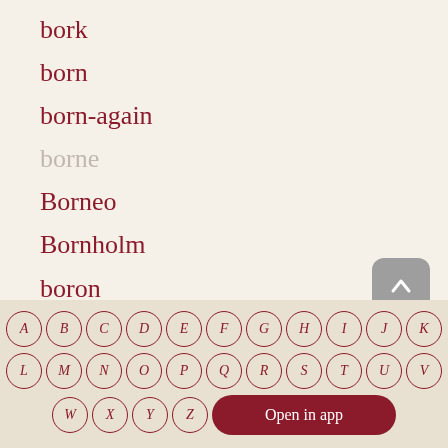bork
born
born-again
borne
Borneo
Bornholm
boron
borough
borrow
updated on July 14, 2017
[Figure (other): Alphabet keyboard navigation with letter circles A-Z and Open in app button]